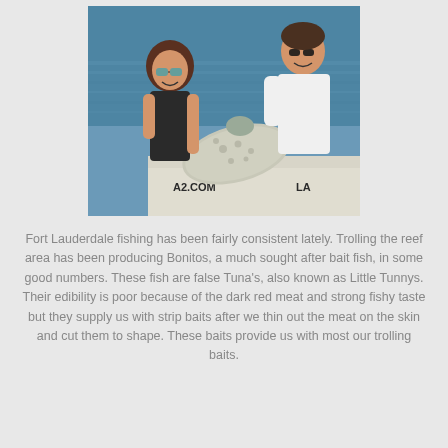[Figure (photo): A woman in a black tank top and sunglasses and a man in a white t-shirt on a boat, holding up what appears to be a large ray or flat fish. The boat has 'A2.COM' and 'LA' visible on its side. Blue ocean water is visible in the background.]
Fort Lauderdale fishing has been fairly consistent lately. Trolling the reef area has been producing Bonitos, a much sought after bait fish, in some good numbers. These fish are false Tuna's, also known as Little Tunnys. Their edibility is poor because of the dark red meat and strong fishy taste but they supply us with strip baits after we thin out the meat on the skin and cut them to shape. These baits provide us with most our trolling baits.